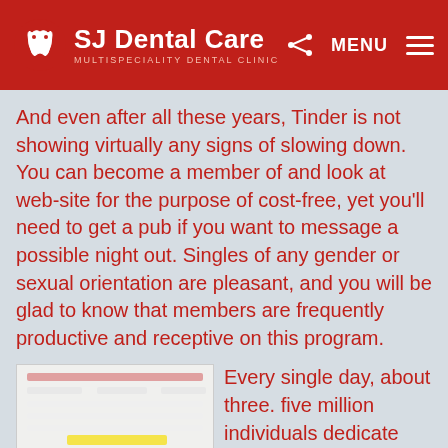SJ Dental Care — MULTISPECIALITY DENTAL CLINIC
And even after all these years, Tinder is not showing virtually any signs of slowing down. You can become a member of and look at web-site for the purpose of cost-free, yet you'll need to get a pub if you want to message a possible night out. Singles of any gender or sexual orientation are pleasant, and you will be glad to know that members are frequently productive and receptive on this program.
[Figure (screenshot): Screenshot of a registration or sign-up form with a green 'GET FREE ACCESS' button and a yellow highlighted offer section.]
Every single day, about three. five million individuals dedicate hours relating to the Grindr software. You require to experience a premium registration to chat, although it's worth the cost. HER belongs to the category of hookup sites that are the best for kooky females. However there are also plenty of bisexual individuals on the platform. Limitless chatting draws in numerous unconventional persons to watch out for dating in this article.